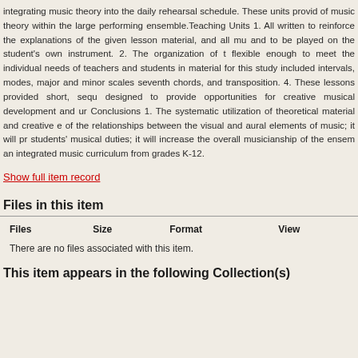integrating music theory into the daily rehearsal schedule. These units provide of music theory within the large performing ensemble.Teaching Units 1. All written to reinforce the explanations of the given lesson material, and all mu and to be played on the student's own instrument. 2. The organization of flexible enough to meet the individual needs of teachers and students in material for this study included intervals, modes, major and minor scales seventh chords, and transposition. 4. These lessons provided short, seq designed to provide opportunities for creative musical development and u Conclusions 1. The systematic utilization of theoretical material and creative e of the relationships between the visual and aural elements of music; it will p students' musical duties; it will increase the overall musicianship of the ense an integrated music curriculum from grades K-12.
Show full item record
Files in this item
| Files | Size | Format | View |
| --- | --- | --- | --- |
| There are no files associated with this item. |  |  |  |
This item appears in the following Collection(s)